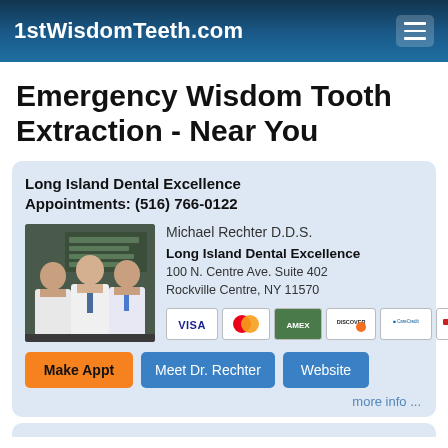1stWisdomTeeth.com
Emergency Wisdom Tooth Extraction - Near You
Long Island Dental Excellence
Appointments: (516) 766-0122
[Figure (photo): Three dentists in white coats standing together]
Michael Rechter D.D.S.
Long Island Dental Excellence
100 N. Centre Ave. Suite 402
Rockville Centre, NY 11570
[Figure (other): Payment method logos: VISA, Mastercard, American Express green card, Discover, CareCredit, LendingClub]
Make Appt   Meet Dr. Rechter   Website
more info ...